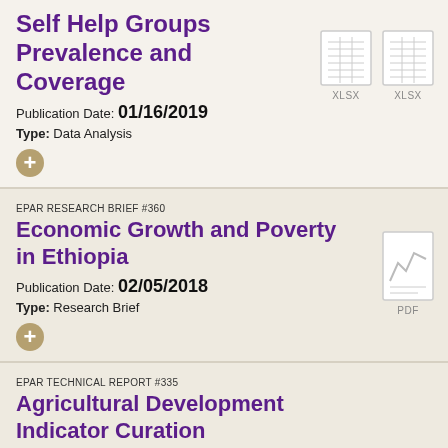Self Help Groups Prevalence and Coverage
Publication Date: 01/16/2019
Type: Data Analysis
[Figure (other): Two XLSX file icons]
EPAR RESEARCH BRIEF #360
Economic Growth and Poverty in Ethiopia
Publication Date: 02/05/2018
Type: Research Brief
[Figure (other): PDF file icon with chart graphic]
EPAR TECHNICAL REPORT #335
Agricultural Development Indicator Curation
Publication Date: 11/21/2017
Type: Data Analysis
[Figure (other): Four code/HTML file icons and one PDF icon]